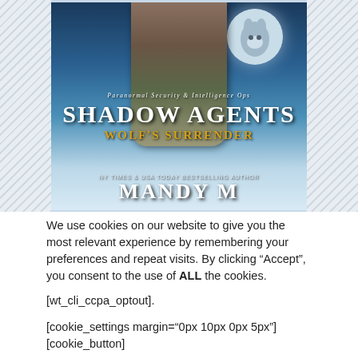[Figure (illustration): Book cover for 'Shadow Agents: Wolf's Surrender' by Mandy M. A paranormal romance novel cover showing a shirtless muscular man in military pants, a wolf visible in a large moon in the upper right corner, misty blue atmospheric background. Text reads: 'Paranormal Security & Intelligence Ops', 'SHADOW AGENTS', 'WOLF'S SURRENDER', 'NY TIMES & USA TODAY BESTSELLING AUTHOR', 'MANDY M']
We use cookies on our website to give you the most relevant experience by remembering your preferences and repeat visits. By clicking “Accept”, you consent to the use of ALL the cookies.
[wt_cli_ccpa_optout].
[cookie_settings margin="0px 10px 0px 5px"][cookie_button]